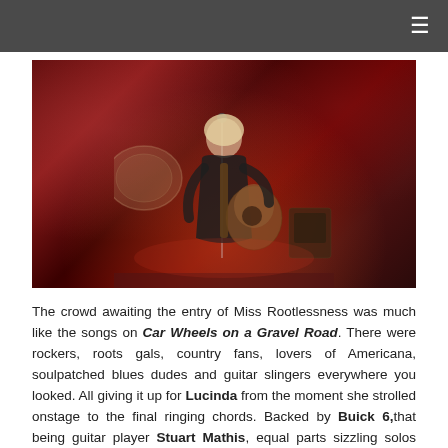☰
[Figure (photo): A female musician with blonde hair singing into a microphone while playing an acoustic guitar on a dimly lit stage with red lighting. Drum kit and amplifiers visible in background.]
The crowd awaiting the entry of Miss Rootlessness was much like the songs on Car Wheels on a Gravel Road. There were rockers, roots gals, country fans, lovers of Americana, soulpatched blues dudes and guitar slingers everywhere you looked. All giving it up for Lucinda from the moment she strolled onstage to the final ringing chords. Backed by Buick 6,that being guitar player Stuart Mathis, equal parts sizzling solos and nuanced picking on the downtempo numbers, bassist David Sutton, who alternated between electric